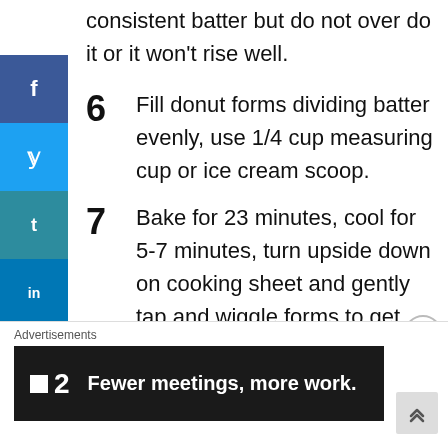consistent batter but do not over do it or it won't rise well.
6  Fill donut forms dividing batter evenly, use 1/4 cup measuring cup or ice cream scoop.
7  Bake for 23 minutes, cool for 5-7 minutes, turn upside down on cooking sheet and gently tap and wiggle forms to get donuts out.
8  Place donuts without touching on a
Advertisements
[Figure (infographic): Dark advertisement banner: logo '2' with tagline 'Fewer meetings, more work.']